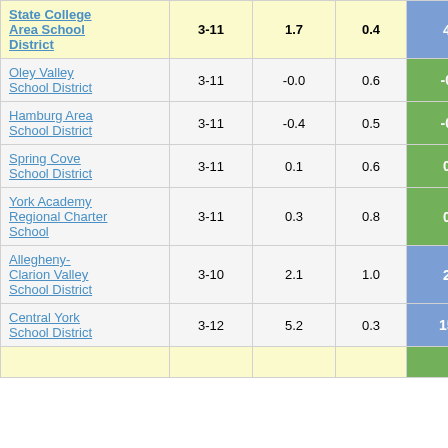| School District | Grades | Col3 | Col4 | Score |
| --- | --- | --- | --- | --- |
| State College Area School District | 3-11 | 1.7 | 0.4 | 4.53 |
| Oley Valley School District | 3-11 | -0.0 | 0.6 | -0.04 |
| Hamburg Area School District | 3-11 | -0.4 | 0.5 | -0.68 |
| Spring Cove School District | 3-11 | 0.1 | 0.6 | 0.20 |
| York Academy Regional Charter School | 3-11 | 0.3 | 0.8 | 0.34 |
| Allegheny-Clarion Valley School District | 3-10 | 2.1 | 1.0 | 2.22 |
| Central York School District | 3-12 | 5.2 | 0.3 | 15.18 |